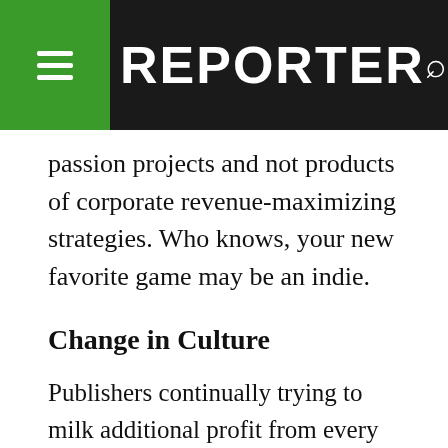REPORTER
passion projects and not products of corporate revenue-maximizing strategies. Who knows, your new favorite game may be an indie.
Change in Culture
Publishers continually trying to milk additional profit from every game they release can be more than a little off-putting. Even when a gamer has paid full price for an experience, there so often exists an in-game hierarchy that is not fair to those with less spending ability. Microtransactions have certainly enabled gamers to customize and personalize their favorite games in new ways; so in some contexts they can serve a positive